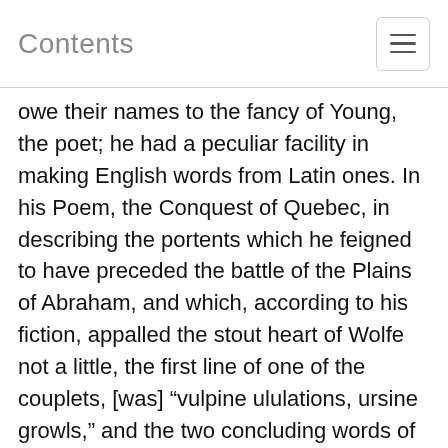Contents
owe their names to the fancy of Young, the poet; he had a peculiar facility in making English words from Latin ones. In his Poem, the Conquest of Quebec, in describing the portents which he feigned to have preceded the battle of the Plains of Abraham, and which, according to his fiction, appalled the stout heart of Wolfe not a little, the first line of one of the couplets, [was] “vulpine ululations, ursine growls,” and the two concluding words of the next, “predicting owls,” those which preceded have escaped my memory, and it is not now in my power to recover them; sad fate for an epic! “scarce twice five lustres past and out of print.” 36
It was during his residence in Amenia that Dr Young’s